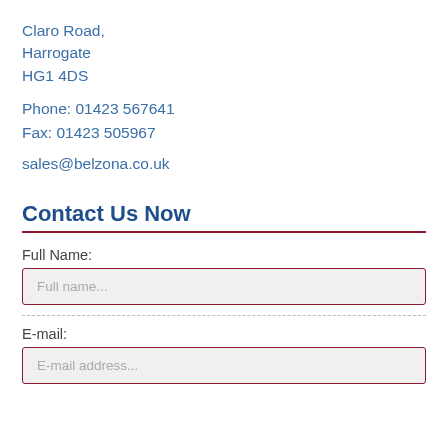Claro Road,
Harrogate
HG1 4DS
Phone: 01423 567641
Fax: 01423 505967
sales@belzona.co.uk
Contact Us Now
Full Name:
Full name...
E-mail:
E-mail address...